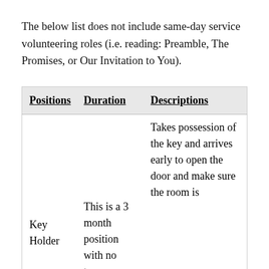The below list does not include same-day service volunteering roles (i.e. reading: Preamble, The Promises, or Our Invitation to You).
| Positions | Duration | Descriptions |
| --- | --- | --- |
| Key Holder | This is a 3 month position with no term | Takes possession of the key and arrives early to open the door and make sure the room is |